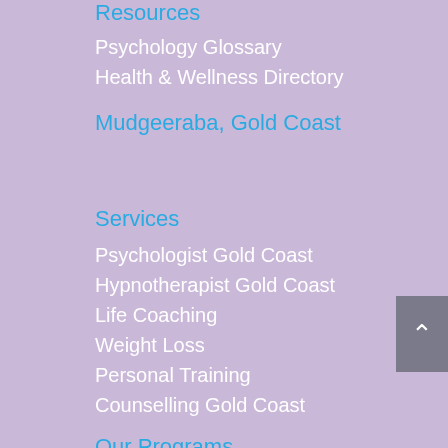Resources
Psychology Glossary
Health & Wellness Directory
Mudgeeraba, Gold Coast
Services
Psychologist Gold Coast
Hypnotherapist Gold Coast
Life Coaching
Weight Loss
Personal Training
Counselling Gold Coast
Our Programs
Psychology & Life Coaching
Weight Loss Programs